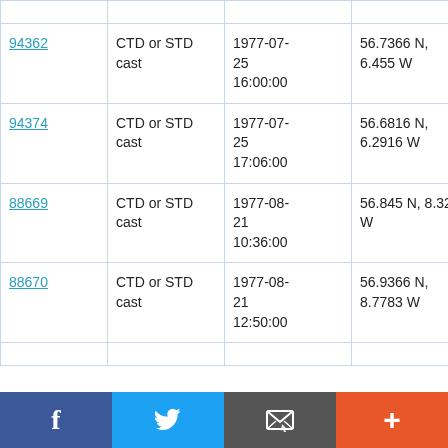| ID | Type | Date/Time | Location | Cruise |
| --- | --- | --- | --- | --- |
|  |  |  |  |  |
| 94362 | CTD or STD cast | 1977-07-25 16:00:00 | 56.7366 N, 6.455 W | RRS Challenger CH11/77 |
| 94374 | CTD or STD cast | 1977-07-25 17:06:00 | 56.6816 N, 6.2916 W | RRS Challenger CH11/77 |
| 88669 | CTD or STD cast | 1977-08-21 10:36:00 | 56.845 N, 8.325 W | RRS Challenger CH13/77 |
| 88670 | CTD or STD cast | 1977-08-21 12:50:00 | 56.9366 N, 8.7783 W | RRS Challenger CH13/77 |
|  |  |  |  |  |
[Figure (infographic): Social media sharing bar with Facebook, Twitter, Email, and plus buttons]